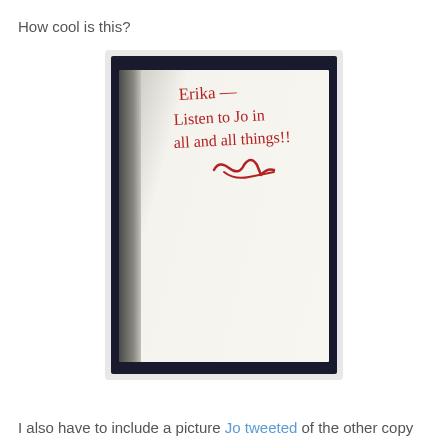How cool is this?
[Figure (photo): A photograph of an open book showing a handwritten inscription in red ink that reads: 'Erika — Listen to Jo in all and all things!! [signature]']
I also have to include a picture Jo tweeted of the other copy